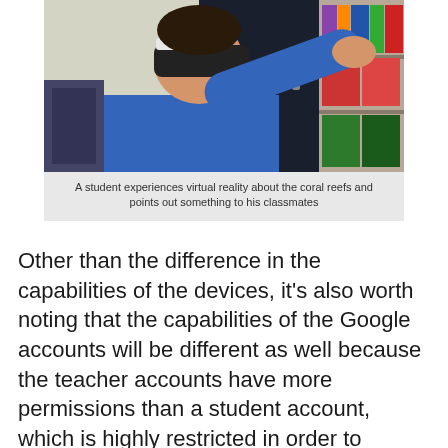[Figure (photo): A student wearing a VR headset reaching toward a dark cabinet in a classroom, with shelves and colorful storage bins visible in the background.]
A student experiences virtual reality about the coral reefs and points out something to his classmates
Other than the difference in the capabilities of the devices, it's also worth noting that the capabilities of the Google accounts will be different as well because the teacher accounts have more permissions than a student account, which is highly restricted in order to comply with CIPA and COPPA guidelines.